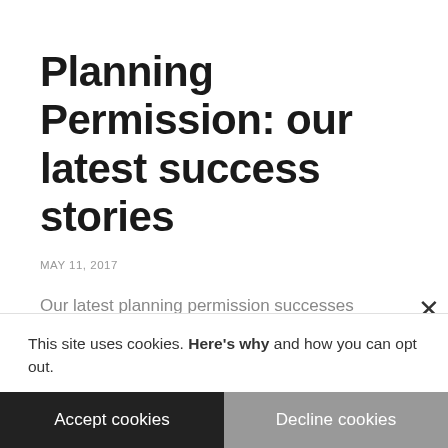Planning Permission: our latest success stories
MAY 11, 2017
Our latest planning permission successes include Listed Buildings, new flats in London, and a farm redevelopment in Wiltshire.
1. 13 new homes in Wiltshire
This site uses cookies. Here's why and how you can opt out.
Accept cookies
Decline cookies